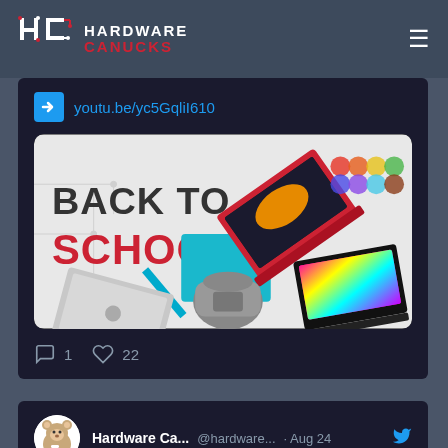HARDWARE CANUCKS
[Figure (screenshot): Tweet showing a YouTube link youtu.be/yc5GqliI610 with a Back to School promotional image featuring laptops, tablets, backpack, and school supplies]
youtu.be/yc5GqliI610
1   22
[Figure (screenshot): Tweet by Hardware Ca... @hardware... Aug 24 saying Could the this be the new king of air coolers? with link youtu.be/4NpTZRassHI]
Hardware Ca...  @hardware...  · Aug 24
Could the this be the new king of air coolers?
youtu.be/4NpTZRassHI